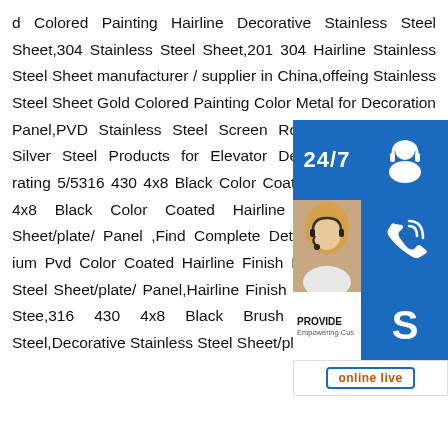d Colored Painting Hairline Decorative Stainless Steel Sheet,304 Stainless Steel Sheet,201 304 Hairline Stainless Steel Sheet manufacturer / supplier in China,offering Stainless Steel Sheet Gold Colored Painting Color Metal for Decoration Panel,PVD Stainless Steel Screen Room Divider,201 ng Silver Steel Products for Elevator Decoration.sp.infoUser rating 5/5316 430 4x8 Black Color Coated Hairline 316 430 4x8 Black Color Coated Hairline Finish Decorative Sheet/plate/ Panel ,Find Complete Details x8 Black Brush ium Pvd Color Coated Hairline Finish Decorative Stainless Steel Sheet/plate/ Panel,Hairline Finish Decorative Stainless Stee,316 430 4x8 Black Brush ium Pvdstainless Steel,Decorative Stainless Steel Sheet/plate/ e/
[Figure (infographic): Customer service widget panel with 24/7 text, headset icon, customer service photo, phone icon, PROVIDE Empowering Customers text, Skype icon, and online live button]